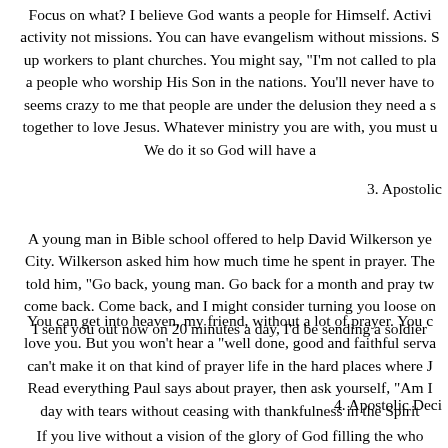Focus on what? I believe God wants a people for Himself. Activi activity not missions. You can have evangelism without missions. S up workers to plant churches. You might say, "I'm not called to pla a people who worship His Son in the nations. You'll never have to seems crazy to me that people are under the delusion they need a s together to love Jesus. Whatever ministry you are with, you must u We do it so God will have a
3. Apostolic
A young man in Bible school offered to help David Wilkerson ye City. Wilkerson asked him how much time he spent in prayer. The told him, "Go back, young man. Go back for a month and pray tw come back. Come back, and I might consider turning you loose on I sent you out now on 20 minutes a day, I'd be sending a soldier
You can get into heaven, my friend, without a lot of prayer. You c love you. But you won't hear a "well done, good and faithful serva can't make it on that kind of prayer life in the hard places where J Read everything Paul says about prayer, then ask yourself, "Am I day with tears without ceasing with thankfulness in the Spirit
4. Apostolic Deci
If you live without a vision of the glory of God filling the who